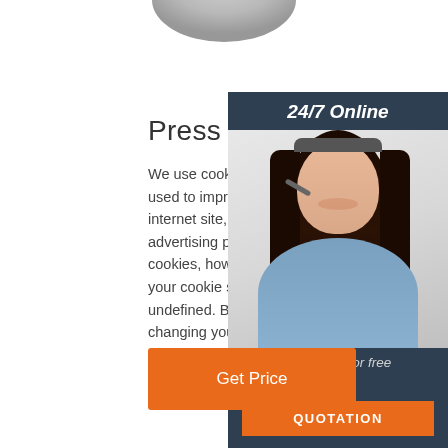[Figure (illustration): Partial top of a round/elliptical object (appears to be a ball or rounded product) visible at the top center of the page, cropped.]
Press Home
We use cookies on our website. Cookies a used to improve the functionality and use internet site, as well as for analytic and advertising purposes. To learn more about cookies, how we use them and how to cha your cookie settings find out more here undefined. By continuing to use this site w changing your settings you consent ...
[Figure (illustration): Sidebar widget with dark navy background showing '24/7 Online' header, a smiling woman wearing a headset (customer service agent), italic text 'Click here for free chat !' and an orange QUOTATION button.]
Get Price